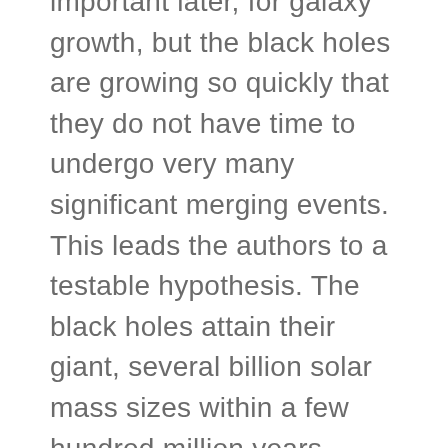important later, for galaxy growth, but the black holes are growing so quickly that they do not have time to undergo very many significant merging events. This leads the authors to a testable hypothesis. The black holes attain their giant, several billion solar mass sizes within a few hundred million years, while the growth of their host galaxies is expected to proceed much more slowly, on scales of a few billion years.